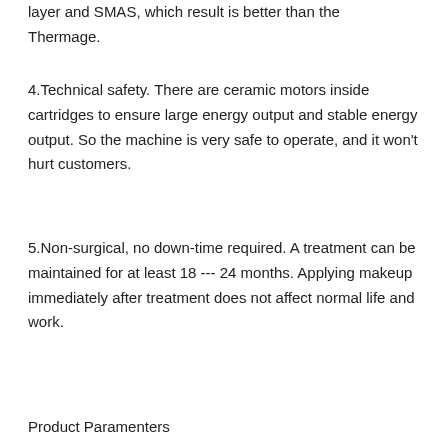layer and SMAS, which result is better than the Thermage.
4.Technical safety. There are ceramic motors inside cartridges to ensure large energy output and stable energy output. So the machine is very safe to operate, and it won't hurt customers.
5.Non-surgical, no down-time required. A treatment can be maintained for at least 18 --- 24 months. Applying makeup immediately after treatment does not affect normal life and work.
Product Paramenters